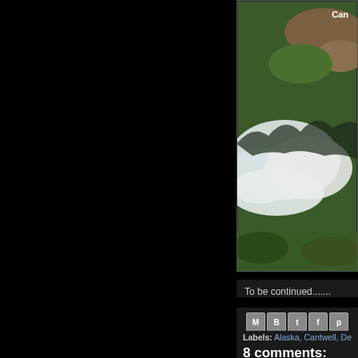[Figure (photo): Satellite/aerial map image of Alaska region showing terrain, clouds, and greenery. Label 'Can' visible in upper right corner.]
To be continued.......
[Figure (other): Row of social share buttons: Gmail (M), Blogger (B), Twitter (t), Facebook (f), Pinterest (p)]
Labels: Alaska, Cantwell, De...
8 comments:
Anonymous  Februa...
Nice!
Reply